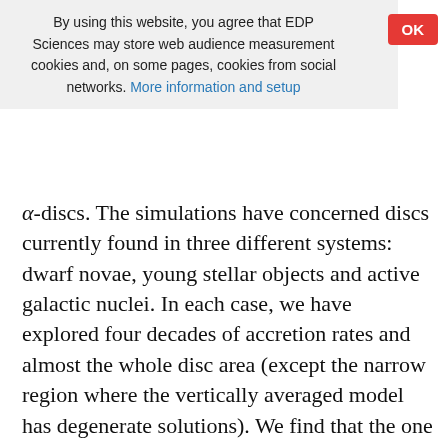By using this website, you agree that EDP Sciences may store web audience measurement cookies and, on some pages, cookies from social networks. More information and setup
α-discs. The simulations have concerned discs currently found in three different systems: dwarf novae, young stellar objects and active galactic nuclei. In each case, we have explored four decades of accretion rates and almost the whole disc area (except the narrow region where the vertically averaged model has degenerate solutions). We find that the one layer approach gives a remarkably good estimate of the main physical quantities in the disc, and specially the temperature at the equatorial plane which is accurate to within 30% for cases considered. The major deviations (by a factor ) are observed on the disc half-thickness. The sensitivity of the results to the α-parameter value has been tested for  and appears to be weak. This study suggests that the "precision"of the